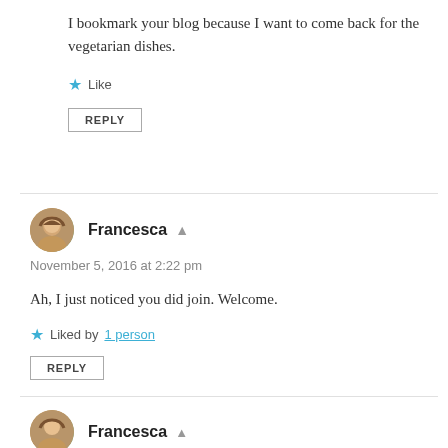I bookmark your blog because I want to come back for the vegetarian dishes.
★ Like
REPLY
Francesca 👤
November 5, 2016 at 2:22 pm
Ah, I just noticed you did join. Welcome.
★ Liked by 1 person
REPLY
Francesca 👤